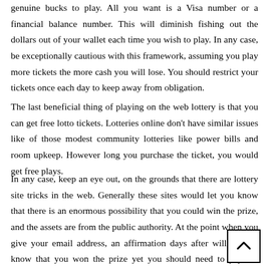genuine bucks to play. All you want is a Visa number or a financial balance number. This will diminish fishing out the dollars out of your wallet each time you wish to play. In any case, be exceptionally cautious with this framework, assuming you play more tickets the more cash you will lose. You should restrict your tickets once each day to keep away from obligation.
The last beneficial thing of playing on the web lottery is that you can get free lotto tickets. Lotteries online don't have similar issues like of those modest community lotteries like power bills and room upkeep. However long you purchase the ticket, you would get free plays.
In any case, keep an eye out, on the grounds that there are lottery site tricks in the web. Generally these sites would let you know that there is an enormous possibility that you could win the prize, and the assets are from the public authority. At the point when you give your email address, an affirmation days after will let you know that you won the prize yet you should need to pay the charges before you get it. In the event that you received the message, call the police.